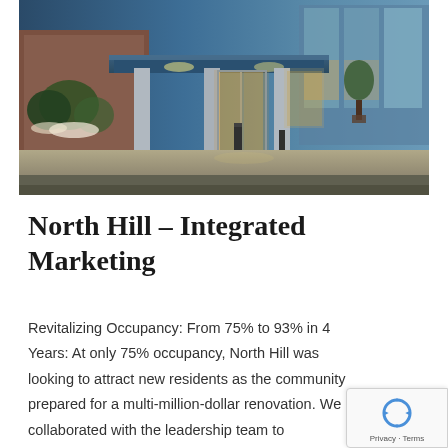[Figure (photo): Exterior photo of North Hill building entrance at dusk/evening, showing a modern glass-fronted entrance with illuminated canopy, columns, and landscaping.]
North Hill – Integrated Marketing
Revitalizing Occupancy: From 75% to 93% in 4 Years: At only 75% occupancy, North Hill was looking to attract new residents as the community prepared for a multi-million-dollar renovation. We collaborated with the leadership team to